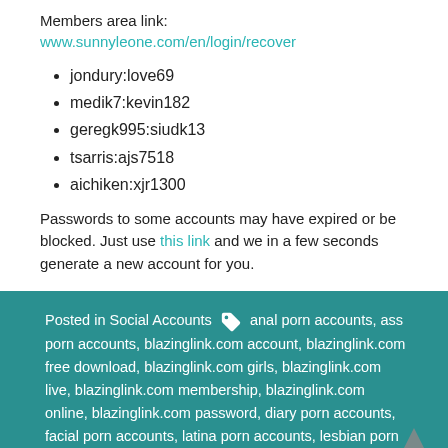Members area link: www.sunnyleone.com/en/login/recover
jondury:love69
medik7:kevin182
geregk995:siudk13
tsarris:ajs7518
aichiken:xjr1300
Passwords to some accounts may have expired or be blocked. Just use this link and we in a few seconds generate a new account for you.
Posted in Social Accounts  anal porn accounts, ass porn accounts, blazinglink.com account, blazinglink.com free download, blazinglink.com girls, blazinglink.com live, blazinglink.com membership, blazinglink.com online, blazinglink.com password, diary porn accounts, facial porn accounts, latina porn accounts, lesbian porn accounts, pornstar